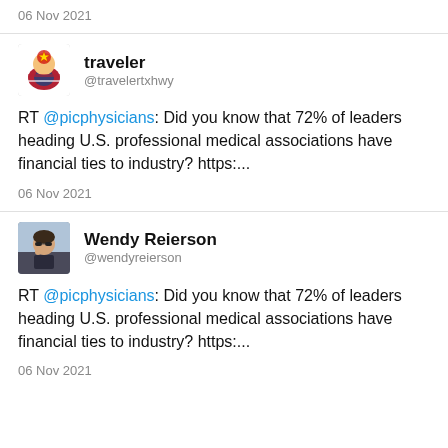06 Nov 2021
[Figure (illustration): Profile avatar with communist star and American flag cartoon icon for user traveler]
traveler @travelertxhwy
RT @picphysicians: Did you know that 72% of leaders heading U.S. professional medical associations have financial ties to industry? https:...
06 Nov 2021
[Figure (photo): Profile photo of Wendy Reierson, a woman wearing sunglasses outdoors]
Wendy Reierson @wendyreierson
RT @picphysicians: Did you know that 72% of leaders heading U.S. professional medical associations have financial ties to industry? https:...
06 Nov 2021